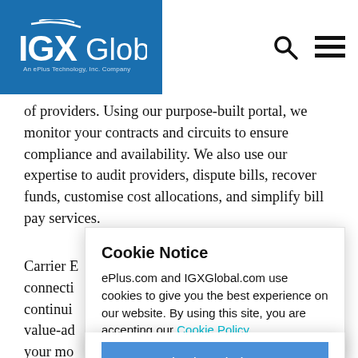IGXGlobal. An ePlus Technology, Inc. Company
of providers. Using our purpose-built portal, we monitor your contracts and circuits to ensure compliance and availability. We also use our expertise to audit providers, dispute bills, recover funds, customise cost allocations, and simplify bill pay services.
Carrier E... age your connecti... ile continui... s. This value-ad... one of your mo... improve service d...
Cookie Notice
ePlus.com and IGXGlobal.com use cookies to give you the best experience on our website. By using this site, you are accepting our Cookie Policy.
I acknowledge